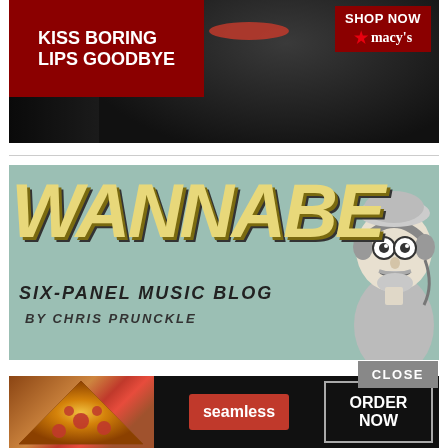[Figure (photo): Macy's advertisement banner showing a woman with red lipstick playing guitar in dark setting, with text 'KISS BORING LIPS GOODBYE' and 'SHOP NOW' button with Macy's logo]
[Figure (illustration): Wannabe Six-Panel Music Blog by Chris Prunckle - illustrated banner with large yellow italic 'WANNABE' text on mint green background and cartoon character with headphones on right]
[Figure (photo): Seamless food delivery advertisement with pizza image, Seamless logo in red, and 'ORDER NOW' button]
CLOSE